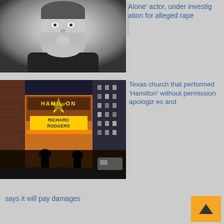[Figure (photo): Black and white portrait photo of a young smiling boy leaning on his hand]
Alone' actor, under investigation for alleged rape
[Figure (photo): Photo of the Richard Rodgers Theatre marquee showing Hamilton, with silhouettes of two people walking toward it, city buildings on the right]
Texas church that performed 'Hamilton' without permission apologizes and says it will pay damages